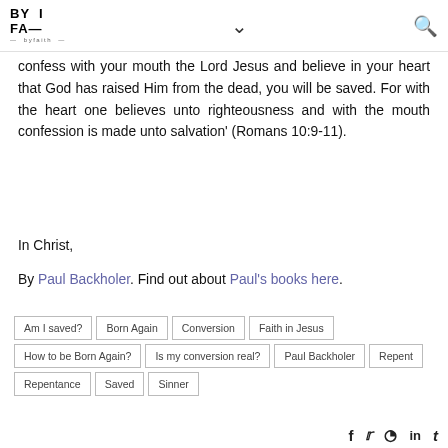BY FAITH — navigation and search icons
confess with your mouth the Lord Jesus and believe in your heart that God has raised Him from the dead, you will be saved. For with the heart one believes unto righteousness and with the mouth confession is made unto salvation' (Romans 10:9-11).
In Christ,
By Paul Backholer. Find out about Paul's books here.
Am I saved?
Born Again
Conversion
Faith in Jesus
How to be Born Again?
Is my conversion real?
Paul Backholer
Repent
Repentance
Saved
Sinner